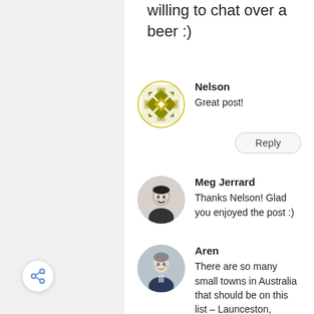willing to chat over a beer :)
Nelson
Great post!
Reply
Meg Jerrard
Thanks Nelson! Glad you enjoyed the post :)
Aren
There are so many small towns in Australia that should be on this list – Launceston, Coober